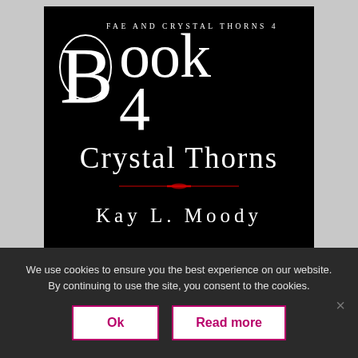[Figure (illustration): Book cover for 'Crystal Thorns' Book 4 of the Fae and Crystal Thorns series by Kay L. Moody. Black background with large white serif typography: series name 'FAE AND CRYSTAL THORNS 4' at top, then 'BOOK 4' in very large letters with decorative circle around the B, then 'CRYSTAL THORNS' with a red decorative underline, then 'KAY L. MOODY' in spaced capital letters.]
We use cookies to ensure you the best experience on our website. By continuing to use the site, you consent to the cookies.
Ok
Read more